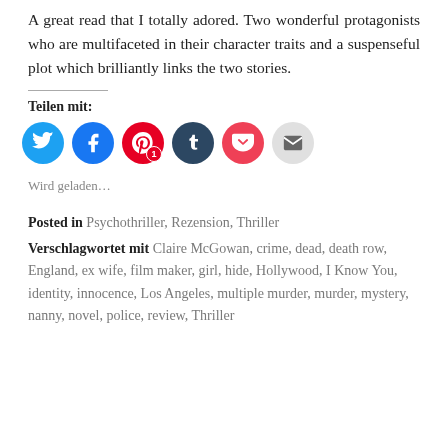A great read that I totally adored. Two wonderful protagonists who are multifaceted in their character traits and a suspenseful plot which brilliantly links the two stories.
Teilen mit:
[Figure (other): Social share buttons: Twitter (blue), Facebook (blue), Pinterest (red, with badge 1), Tumblr (dark blue), Pocket (red), Email (gray)]
Wird geladen…
Posted in Psychothriller, Rezension, Thriller
Verschlagwortet mit Claire McGowan, crime, dead, death row, England, ex wife, film maker, girl, hide, Hollywood, I Know You, identity, innocence, Los Angeles, multiple murder, murder, mystery, nanny, novel, police, review, Thriller